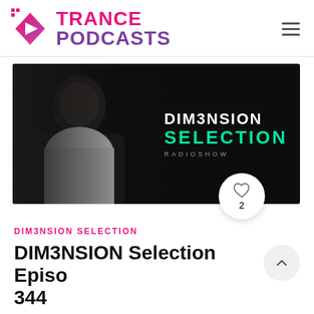[Figure (logo): Trance Podcasts logo with pink diamond play-button icon and pink/purple TRANCE PODCASTS text]
[Figure (photo): DIM3NSION Selection Radioshow banner image: DJ/artist photo on dark background with white DIM3NSION text and green SELECTION text, with like button showing 2 likes]
DIM3NSION SELECTION
DIM3NSION Selection Episode 344